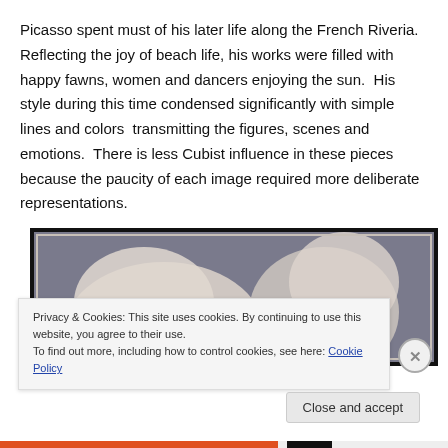Picasso spent must of his later life along the French Riveria. Reflecting the joy of beach life, his works were filled with happy fawns, women and dancers enjoying the sun. His style during this time condensed significantly with simple lines and colors transmitting the figures, scenes and emotions. There is less Cubist influence in these pieces because the paucity of each image required more deliberate representations.
[Figure (photo): Partial view of a Picasso painting showing abstract/simplified figures in muted tones with a black frame border, grey background.]
Privacy & Cookies: This site uses cookies. By continuing to use this website, you agree to their use.
To find out more, including how to control cookies, see here: Cookie Policy
Close and accept